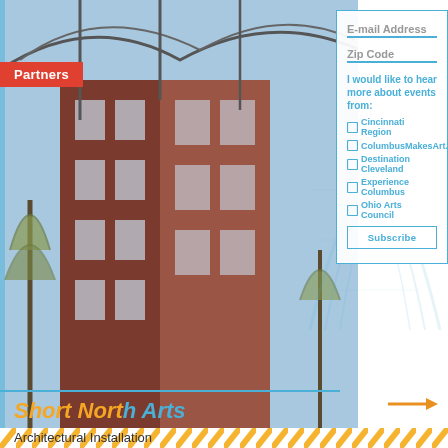[Figure (photo): Street-level photo of a red brick multi-story building with bare trees and an iron bridge/arch structure overhead, taken in daytime with blue sky.]
Partners
E-mail Address
Zip Code
I would like to hear more about events from:
Cincinnati Region
ColumbusMakesArt.com
Destination Cleveland
Experience Columbus
Ohio Arts Council
Subscribe
Short North Arts
Architectural Installation